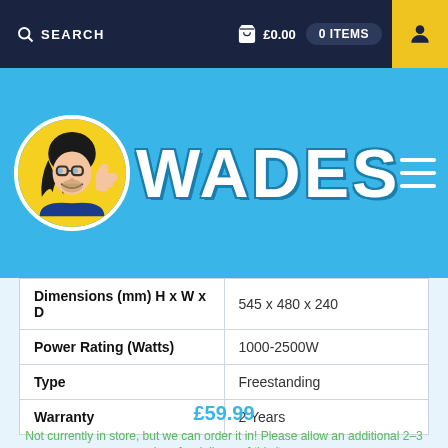SEARCH  £0.00  0 ITEMS
[Figure (logo): Wades logo with cartoon character and WADES text in blue header band]
|  |  |
| --- | --- |
| Dimensions (mm) H x W x D | 545 x 480 x 240 |
| Power Rating (Watts) | 1000-2500W |
| Type | Freestanding |
| Warranty | 2 Years |
£59.99
Not currently in store, but we can order it in! Please allow an additional 2–3 days for delivery of this item
ADD TO BASKET
Compare